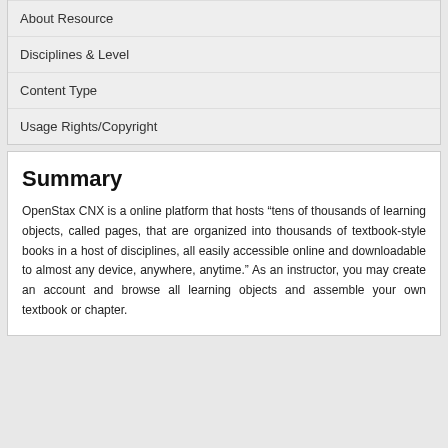About Resource
Disciplines & Level
Content Type
Usage Rights/Copyright
Summary
OpenStax CNX is a online platform that hosts “tens of thousands of learning objects, called pages, that are organized into thousands of textbook-style books in a host of disciplines, all easily accessible online and downloadable to almost any device, anywhere, anytime.” As an instructor, you may create an account and browse all learning objects and assemble your own textbook or chapter.